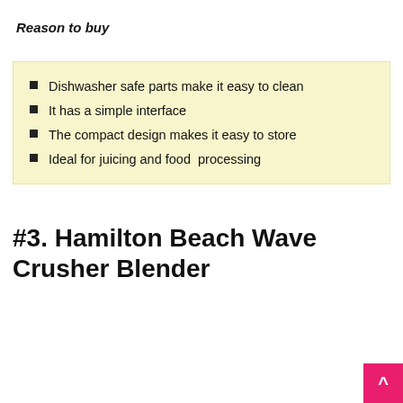Reason to buy
Dishwasher safe parts make it easy to clean
It has a simple interface
The compact design makes it easy to store
Ideal for juicing and food  processing
#3. Hamilton Beach Wave Crusher Blender